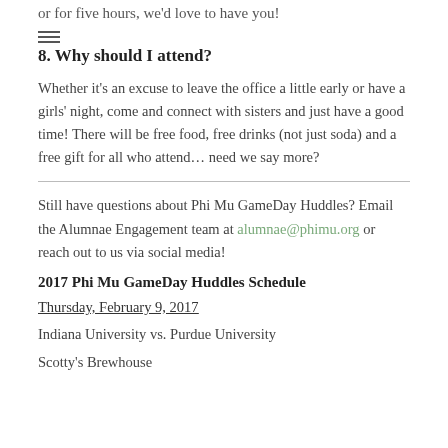or for five hours, we'd love to have you!
8. Why should I attend?
Whether it's an excuse to leave the office a little early or have a girls' night, come and connect with sisters and just have a good time! There will be free food, free drinks (not just soda) and a free gift for all who attend… need we say more?
Still have questions about Phi Mu GameDay Huddles? Email the Alumnae Engagement team at alumnae@phimu.org or reach out to us via social media!
2017 Phi Mu GameDay Huddles Schedule
Thursday, February 9, 2017
Indiana University vs. Purdue University
Scotty's Brewhouse